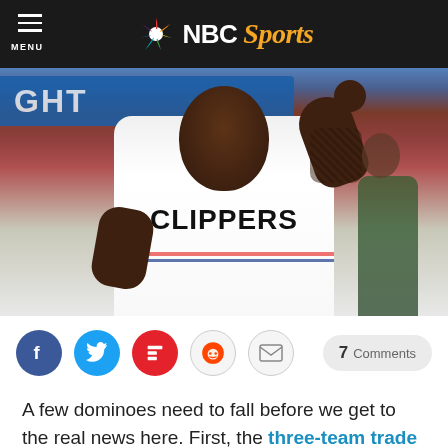NBC Sports
[Figure (photo): Basketball player wearing a Los Angeles Clippers white jersey, running on court during a game. Tattoos visible on both arms. Background shows blurred arena crowd and signage.]
7 Comments
A few dominoes need to fall before we get to the real news here. First, the three-team trade between the Clippers, Nuggets, and Hawks finally had to become